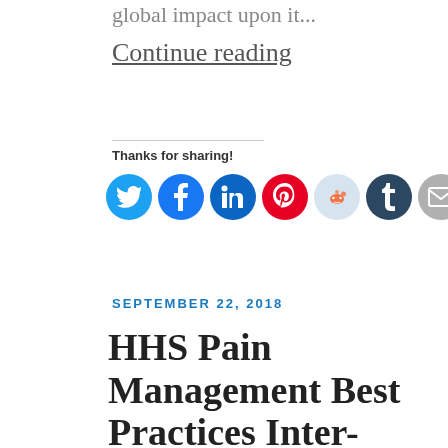global impact upon it...
Continue reading
Thanks for sharing!
[Figure (infographic): Social sharing icon buttons: Twitter (blue), Facebook (blue), LinkedIn (dark blue), Pinterest (red), Reddit (light blue), Tumblr (dark navy), Email (gray), and More button]
SEPTEMBER 22, 2018
HHS Pain Management Best Practices Inter-Agency Task Force